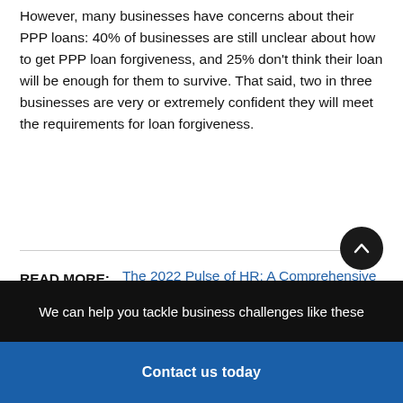However, many businesses have concerns about their PPP loans: 40% of businesses are still unclear about how to get PPP loan forgiveness, and 25% don't think their loan will be enough for them to survive. That said, two in three businesses are very or extremely confident they will meet the requirements for loan forgiveness.
READ MORE: The 2022 Pulse of HR: A Comprehensive View of the State of HR in U.S. Businesses
We can help you tackle business challenges like these
Contact us today